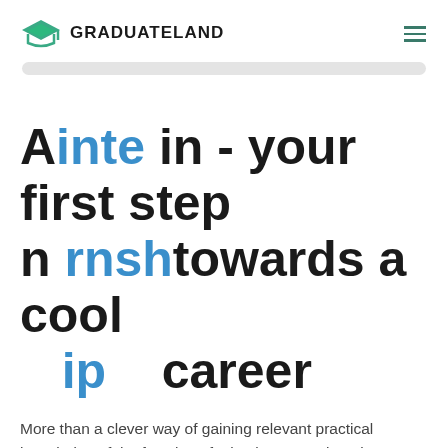GRADUATELAND
[Figure (logo): GraduateLand logo with graduation cap icon and text GRADUATELAND, plus hamburger menu icon on the right]
[Figure (other): Search bar or progress bar (light grey rounded rectangle)]
An internship - your first step towards a cool career
More than a clever way of gaining relevant practical knowledge of the function of a business, engineering internships are also frequently identified as the best